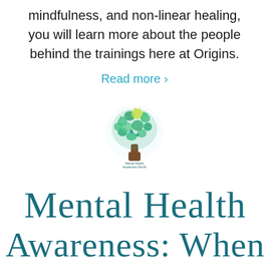mindfulness, and non-linear healing, you will learn more about the people behind the trainings here at Origins.
Read more ›
[Figure (illustration): A stylized tree made of colorful handprints (green, teal, yellow) on a brown trunk, with small text reading 'Mental Health Awareness Month' at the base]
Mental Health Awareness: When Suffering Is Not an